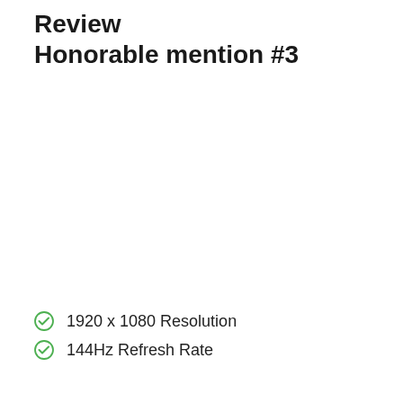Review
Honorable mention #3
1920 x 1080 Resolution
144Hz Refresh Rate